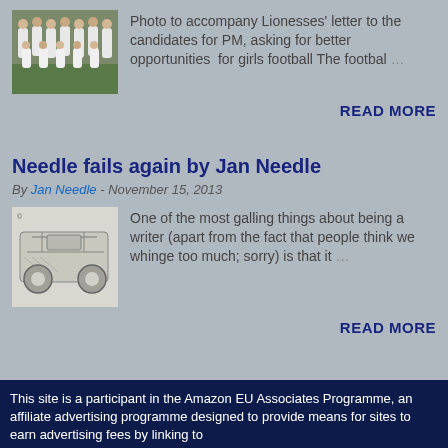[Figure (photo): Team photo of women's football squad in white uniforms posed together outdoors]
Photo to accompany Lionesses' letter to the candidates for PM, asking for better opportunities  for girls football The footbal …
READ MORE
Needle fails again by Jan Needle
By Jan Needle - November 15, 2013
[Figure (illustration): Black and white sketch/illustration of a vehicle or mechanical scene]
One of the most galling things about being a writer (apart from the fact that people think we whinge too much; sorry) is that it …
READ MORE
This site is a participant in the Amazon EU Associates Programme, an affiliate advertising programme designed to provide means for sites to earn advertising fees by linking to